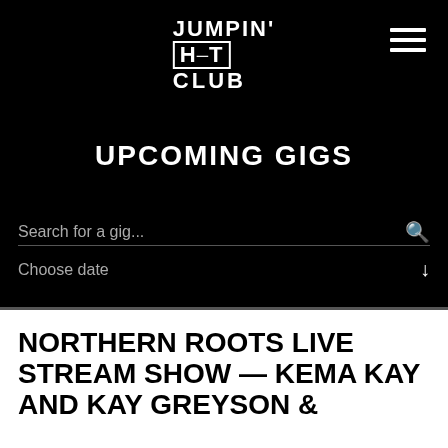[Figure (logo): Jumpin' Hot Club logo in white on black background, with HOT in a rectangular box]
UPCOMING GIGS
Search for a gig...
Choose date
NORTHERN ROOTS LIVE STREAM SHOW — KEMA KAY AND KAY GREYSON &